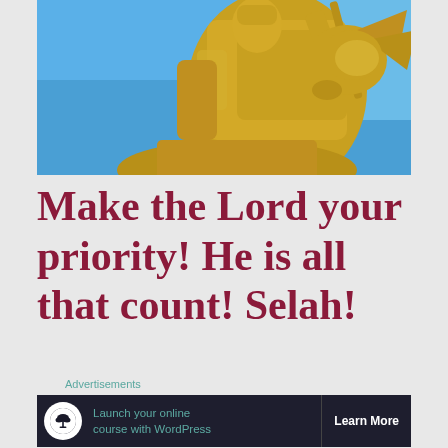[Figure (photo): A golden statue of a knight or saint on horseback against a blue sky, viewed from below at an angle. The figure is gilded/gold colored and holds a weapon aloft.]
Make the Lord your priority! He is all that count! Selah!
Advertisements
[Figure (infographic): Advertisement banner with dark background showing a bonsai tree icon in white circle, teal text reading 'Launch your online course with WordPress' and white 'Learn More' button text.]